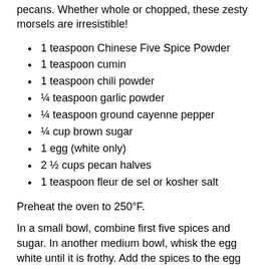pecans. Whether whole or chopped, these zesty morsels are irresistible!
1 teaspoon Chinese Five Spice Powder
1 teaspoon cumin
1 teaspoon chili powder
¼ teaspoon garlic powder
¼ teaspoon ground cayenne pepper
¼ cup brown sugar
1 egg (white only)
2 ½ cups pecan halves
1 teaspoon fleur de sel or kosher salt
Preheat the oven to 250°F.
In a small bowl, combine first five spices and sugar. In another medium bowl, whisk the egg white until it is frothy. Add the spices to the egg white and whisk to combine.
Add the pecans to the mixture and toss until nuts are